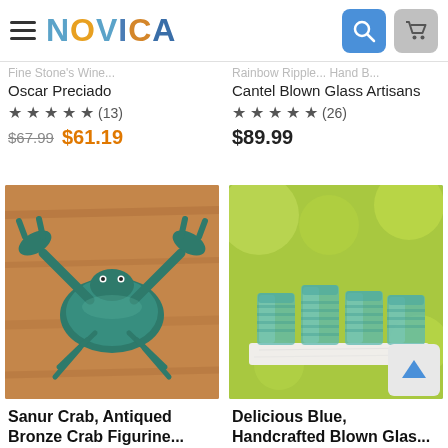[Figure (screenshot): NOVICA website header with hamburger menu, NOVICA logo in multicolor, search icon (blue), and cart icon (gray)]
Oscar Preciado
★★★★★ (13)
$67.99  $61.19
Cantel Blown Glass Artisans
★★★★★ (26)
$89.99
[Figure (photo): Antiqued bronze crab figurine on a wooden surface, teal/green patina color]
Sanur Crab, Antiqued Bronze Crab Figurine...
Adi Naviantara
[Figure (photo): Set of handcrafted blown glass teal/blue drinking glasses on a marble tray with green bokeh background]
Delicious Blue, Handcrafted Blown Glas...
Javier and Efren